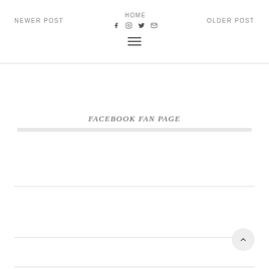NEWER POST   HOME   OLDER POST
FACEBOOK FAN PAGE